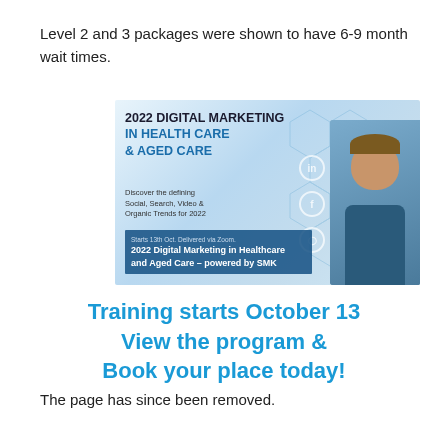Level 2 and 3 packages were shown to have 6-9 month wait times.
[Figure (screenshot): Advertisement for '2022 Digital Marketing in Health Care & Aged Care' course by SMK. Features bold title text, social media icons, a photo of a man, and text reading '2022 Digital Marketing in Healthcare and Aged Care – powered by SMK'. Below the image: 'Training starts October 13 View the program & Book your place today!' in large blue bold text.]
The page has since been removed.